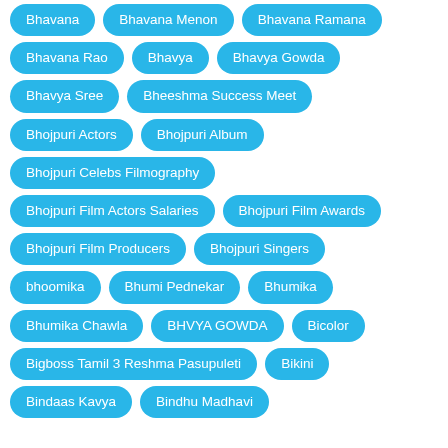Bhavana
Bhavana Menon
Bhavana Ramana
Bhavana Rao
Bhavya
Bhavya Gowda
Bhavya Sree
Bheeshma Success Meet
Bhojpuri Actors
Bhojpuri Album
Bhojpuri Celebs Filmography
Bhojpuri Film Actors Salaries
Bhojpuri Film Awards
Bhojpuri Film Producers
Bhojpuri Singers
bhoomika
Bhumi Pednekar
Bhumika
Bhumika Chawla
BHVYA GOWDA
Bicolor
Bigboss Tamil 3 Reshma Pasupuleti
Bikini
Bindaas Kavya
Bindhu Madhavi